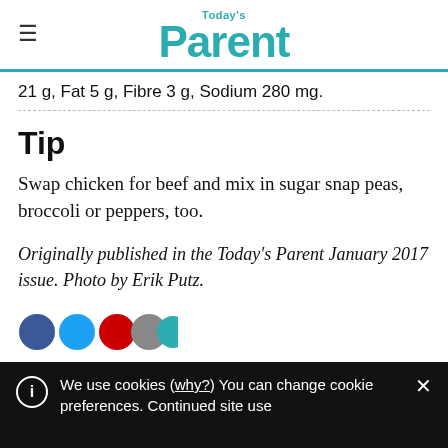Today's Parent
21 g, Fat 5 g, Fibre 3 g, Sodium 280 mg.
Tip
Swap chicken for beef and mix in sugar snap peas, broccoli or peppers, too.
Originally published in the Today's Parent January 2017 issue. Photo by Erik Putz.
We use cookies (why?) You can change cookie preferences. Continued site use